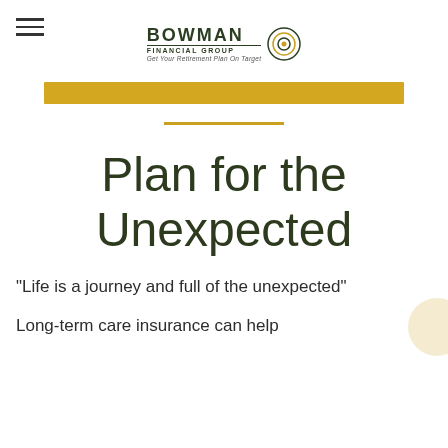BOWMAN FINANCIAL GROUP — Get Your Retirement Plan On Target
Plan for the Unexpected
"Life is a journey and full of the unexpected"
Long-term care insurance can help